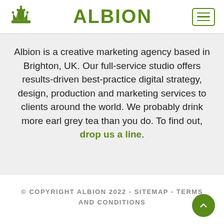ALBION
Albion is a creative marketing agency based in Brighton, UK. Our full-service studio offers results-driven best-practice digital strategy, design, production and marketing services to clients around the world. We probably drink more earl grey tea than you do. To find out, drop us a line.
© COPYRIGHT ALBION 2022 - SITEMAP - TERMS AND CONDITIONS